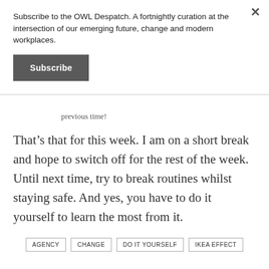Subscribe to the OWL Despatch. A fortnightly curation at the intersection of our emerging future, change and modern workplaces.
Subscribe
previous time!
That’s that for this week. I am on a short break and hope to switch off for the rest of the week. Until next time, try to break routines whilst staying safe. And yes, you have to do it yourself to learn the most from it.
AGENCY   CHANGE   DO IT YOURSELF   IKEA EFFECT